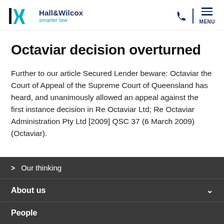[Figure (logo): Hall & Wilcox smarter law logo with stylized N/W monogram in dark navy and teal]
Octaviar decision overturned
Further to our article Secured Lender beware: Octaviar the Court of Appeal of the Supreme Court of Queensland has heard, and unanimously allowed an appeal against the first instance decision in Re Octaviar Ltd; Re Octaviar Administration Pty Ltd [2009] QSC 37 (6 March 2009) (Octaviar).
> Our thinking
About us
People